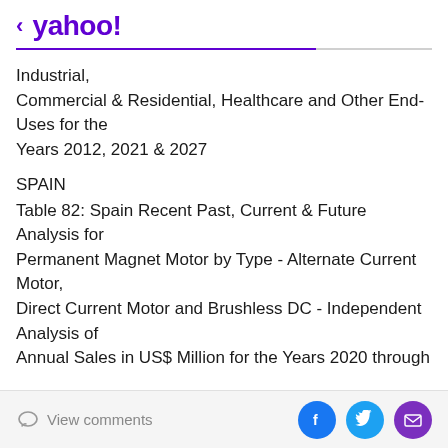< yahoo!
Industrial, Commercial & Residential, Healthcare and Other End-Uses for the Years 2012, 2021 & 2027
SPAIN
Table 82: Spain Recent Past, Current & Future Analysis for Permanent Magnet Motor by Type - Alternate Current Motor, Direct Current Motor and Brushless DC - Independent Analysis of Annual Sales in US$ Million for the Years 2020 through
View comments